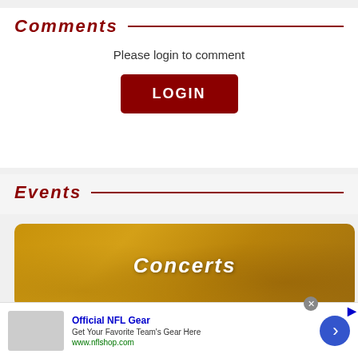Comments
Please login to comment
LOGIN
Events
[Figure (photo): Concerts banner showing crowd with raised hands, golden/amber color overlay with 'Concerts' text in white italic]
[Figure (other): Advertisement banner: Official NFL Gear - Get Your Favorite Team's Gear Here - www.nflshop.com, with blue arrow button and close X button]